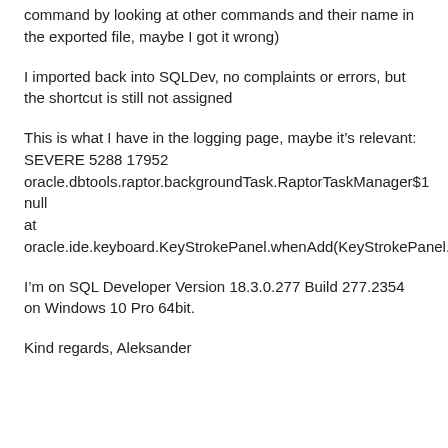command by looking at other commands and their name in the exported file, maybe I got it wrong)
I imported back into SQLDev, no complaints or errors, but the shortcut is still not assigned
This is what I have in the logging page, maybe it’s relevant:
SEVERE 5288 17952
oracle.dbtools.raptor.backgroundTask.RaptorTaskManager$1 null
at
oracle.ide.keyboard.KeyStrokePanel.whenAdd(KeyStrokePanel.java:753)
I’m on SQL Developer Version 18.3.0.277 Build 277.2354 on Windows 10 Pro 64bit.
Kind regards, Aleksander